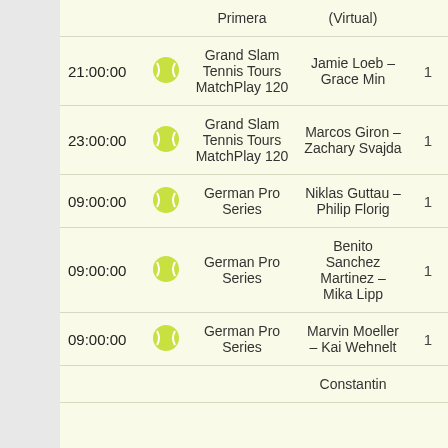| Time |  | Tournament | Match | # |
| --- | --- | --- | --- | --- |
|  |  | Primera | (Virtual) |  |
| 21:00:00 | 🎾 | Grand Slam Tennis Tours MatchPlay 120 | Jamie Loeb – Grace Min | 1 |
| 23:00:00 | 🎾 | Grand Slam Tennis Tours MatchPlay 120 | Marcos Giron – Zachary Svajda | 1 |
| 09:00:00 | 🎾 | German Pro Series | Niklas Guttau – Philip Florig | 1 |
| 09:00:00 | 🎾 | German Pro Series | Benito Sanchez Martinez – Mika Lipp | 1 |
| 09:00:00 | 🎾 | German Pro Series | Marvin Moeller – Kai Wehnelt | 1 |
|  |  |  | Constantin |  |